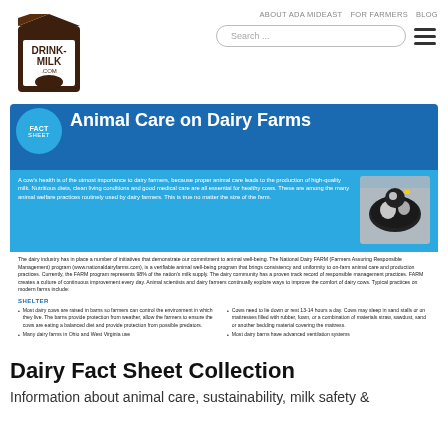[Figure (logo): Drink-Milk.com logo with milk carton and cow illustration in brown/white]
ABOUT ADA MIDEAST   FOR FARMERS   BLOG
[Figure (screenshot): Animal Care on Dairy Farms fact sheet infographic with blue header, cow photo, body text, and shelter bullet points]
Dairy Fact Sheet Collection
Information about animal care, sustainability, milk safety &